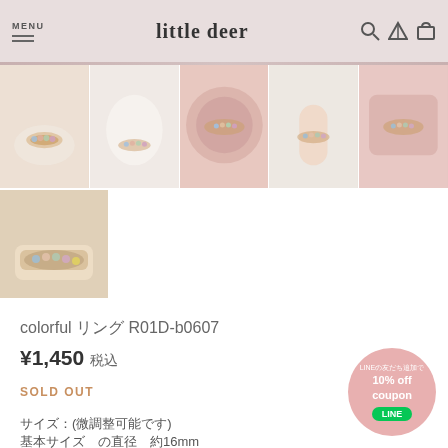little deer
[Figure (photo): Row of 5 product thumbnail photos of a colorful gemstone ring on various backgrounds]
[Figure (photo): Single thumbnail photo of colorful ring worn on finger]
colorful リング R01D-b0607
¥1,450 税込
SOLD OUT
サイズ：(微調整可能です)
基本サイズ　の直径　約16mm
[Figure (infographic): LINEの友だち追加で 10% off coupon LINE badge circle]